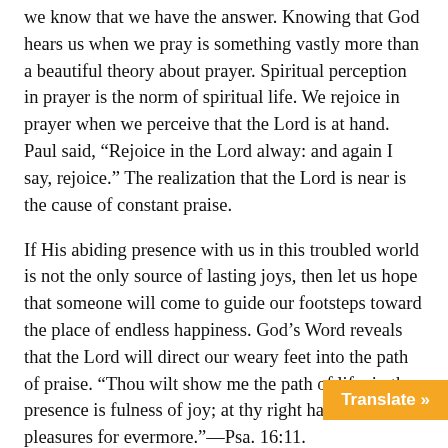we know that we have the answer. Knowing that God hears us when we pray is something vastly more than a beautiful theory about prayer. Spiritual perception in prayer is the norm of spiritual life. We rejoice in prayer when we perceive that the Lord is at hand. Paul said, “Rejoice in the Lord alway: and again I say, rejoice.” The realization that the Lord is near is the cause of constant praise.
If His abiding presence with us in this troubled world is not the only source of lasting joys, then let us hope that someone will come to guide our footsteps toward the place of endless happiness. God’s Word reveals that the Lord will direct our weary feet into the path of praise. “Thou wilt show me the path of life: in thy presence is fulness of joy; at thy right hand are pleasures for evermore.”—Psa. 16:11.
It is apparently true that the measure of our joy is always in proportion to the measure of our praying. One must pray without ceasing in order to have joy unspeakable and full of glory. God’s praying people discover that th… is their strength, and His abiding presence…